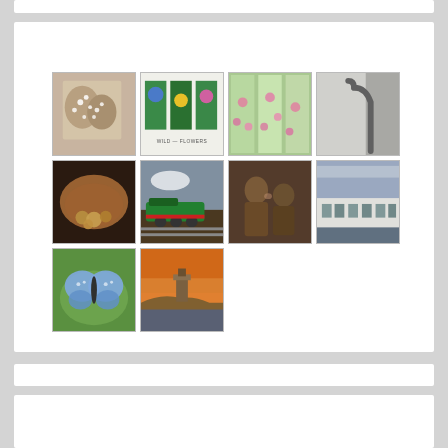[Figure (photo): Grid of 10 photographs including flowers, coins, steam train, people, butterfly, coastal tower, walking stick, and seaside buildings]
[Figure (photo): Photo 1: Close-up of small white flowers on brown seed pods]
[Figure (photo): Photo 2: Wild flowers collection - blue, yellow and pink flowers with text WILD - FLOWERS]
[Figure (photo): Photo 3: Three vertical panels of pink wildflowers in field]
[Figure (photo): Photo 4: Black and white close-up of a walking cane handle]
[Figure (photo): Photo 5: Coins on autumn leaf in dark setting]
[Figure (photo): Photo 6: Green steam locomotive on railway tracks]
[Figure (photo): Photo 7: Two people in sepia tone, one whispering to another]
[Figure (photo): Photo 8: Row of white seaside buildings in colour]
[Figure (photo): Photo 9: Blue butterfly close-up on white flowers]
[Figure (photo): Photo 10: Coastal tower on rocky headland at sunset]